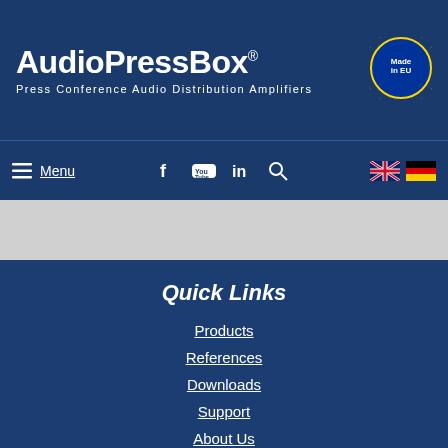AudioPressBox® Press Conference Audio Distribution Amplifiers
[Figure (logo): EU stars circle badge with 'Made in EU' text]
Menu
Quick Links
Products
References
Downloads
Support
About Us
Where to Buy
Contact